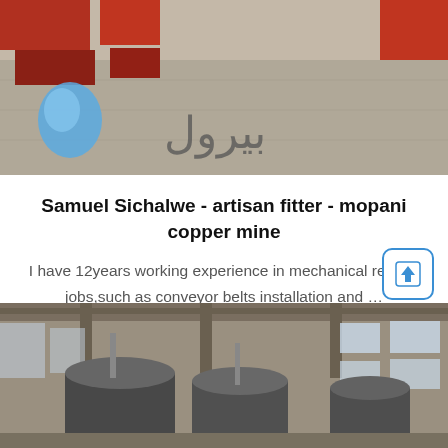[Figure (photo): Top photo showing industrial/mining equipment and machinery on a concrete floor, with Arabic text overlay 'بيرول' and a blue teardrop logo icon]
Samuel Sichalwe - artisan fitter - mopani copper mine
I have 12years working experience in mechanical related jobs,such as conveyor belts installation and …maintenance,gear drives installation,pump installation and
[Figure (photo): Bottom photo showing industrial factory interior with large metallic tanks/vessels inside a warehouse with windows and wooden beam ceiling structure]